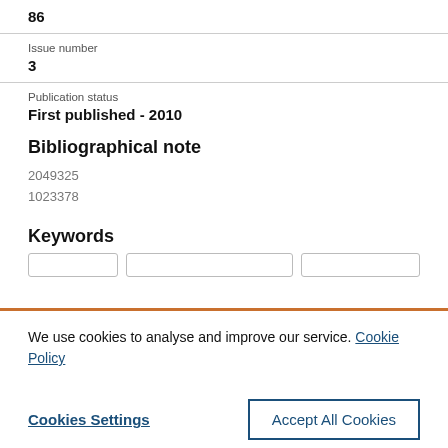86
Issue number
3
Publication status
First published - 2010
Bibliographical note
2049325
1023378
Keywords
We use cookies to analyse and improve our service. Cookie Policy
Cookies Settings
Accept All Cookies